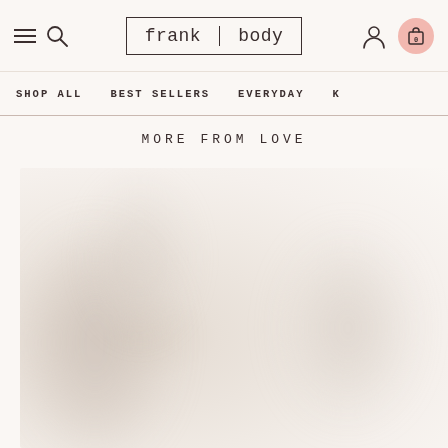frank body — navigation header with hamburger menu, search, logo, user icon, and cart (0)
SHOP ALL   BEST SELLERS   EVERYDAY   K
MORE FROM LOVE
[Figure (photo): Blurred soft beige/cream background product photo, partially visible, warm neutral tones suggesting a body care product]